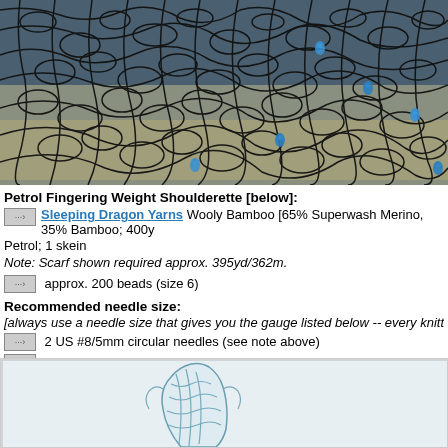[Figure (photo): Close-up photograph of dark/black lace knitting with blue bead droplets against a mottled background]
Petrol Fingering Weight Shoulderette [below]:
Sleeping Dragon Yarns Wooly Bamboo [65% Superwash Merino, 35% Bamboo; 400y Petrol; 1 skein
Note: Scarf shown required approx. 395yd/362m.
approx. 200 beads (size 6)
Recommended needle size:
[always use a needle size that gives you the gauge listed below -- every knitter's gauge is un
2 US #8/5mm circular needles (see note above)
Crochet hook for placing beads (size 13/0.75mm)
[Figure (photo): Small figurine or sample knit item in light blue/teal lace pattern]